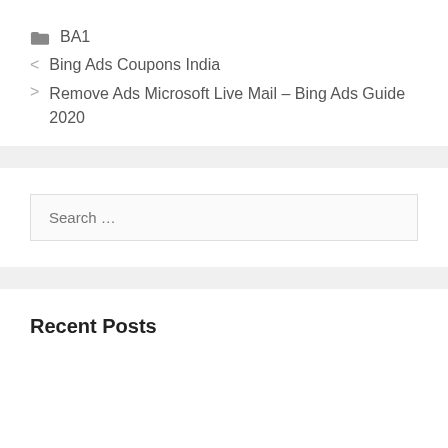BA1
< Bing Ads Coupons India
> Remove Ads Microsoft Live Mail – Bing Ads Guide 2020
Search ...
Recent Posts